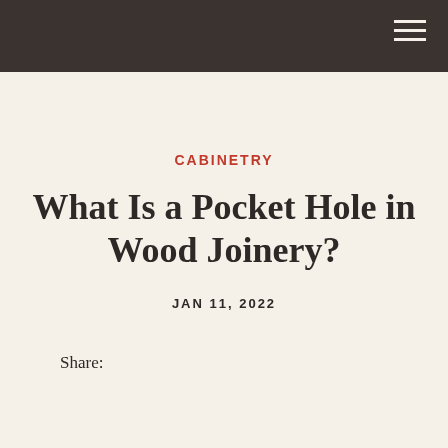CABINETRY
What Is a Pocket Hole in Wood Joinery?
JAN 11, 2022
Share: